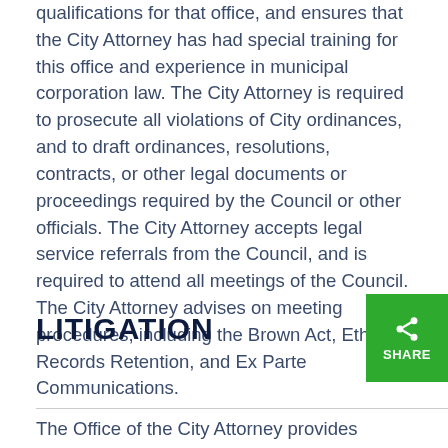qualifications for that office, and ensures that the City Attorney has had special training for this office and experience in municipal corporation law. The City Attorney is required to prosecute all violations of City ordinances, and to draft ordinances, resolutions, contracts, or other legal documents or proceedings required by the Council or other officials. The City Attorney accepts legal service referrals from the Council, and is required to attend all meetings of the Council. The City Attorney advises on meeting procedures, including the Brown Act, Ethics, Records Retention, and Ex Parte Communications.
LITIGATION
The Office of the City Attorney provides oversight and representation in matters regarding litigation or administrative proceedings, including those matters